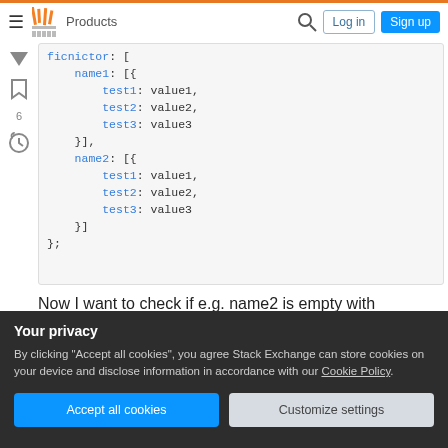Stack Overflow navigation bar with hamburger menu, logo, Products link, search icon, Log in and Sign up buttons
[Figure (screenshot): Code block showing JavaScript/JSON object with fields: ficnictor: [ name1: [{ test1: value1, test2: value2, test3: value3 }], name2: [{ test1: value1, test2: value2, test3: value3 }] };]
Now I want to check if e.g. name2 is empty with
Your privacy
By clicking "Accept all cookies", you agree Stack Exchange can store cookies on your device and disclose information in accordance with our Cookie Policy.
Accept all cookies | Customize settings